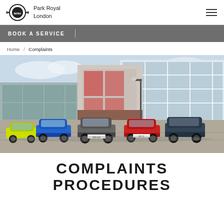MINI Park Royal London
BOOK A SERVICE
Home / Complaints
[Figure (photo): Multiple MINI cars parked in a row in front of a modern building with glass facades. Cars include yellow, blue, grey, red, and dark blue MINIs.]
COMPLAINTS PROCEDURES